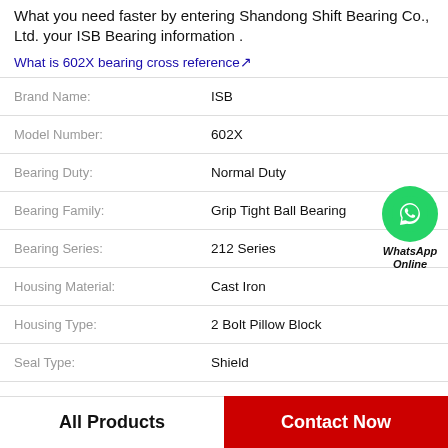What you need faster by entering Shandong Shift Bearing Co., Ltd. your ISB Bearing information .
What is 602X bearing cross reference↗
| Property | Value |
| --- | --- |
| Brand Name: | ISB |
| Model Number: | 602X |
| Bearing Duty: | Normal Duty |
| Bearing Family: | Grip Tight Ball Bearing |
| Bearing Series: | 212 Series |
| Housing Material: | Cast Iron |
| Housing Type: | 2 Bolt Pillow Block |
| Seal Type: | Shield |
[Figure (logo): WhatsApp Online green phone icon with WhatsApp Online label]
All Products
Contact Now